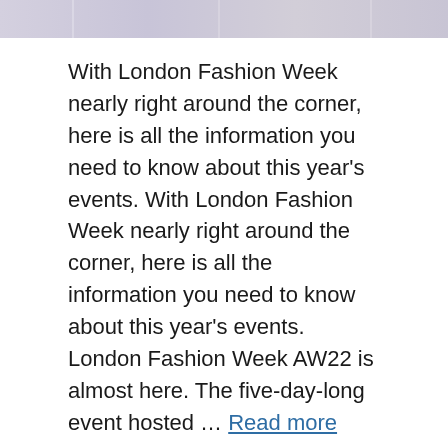[Figure (photo): Partial bottom of a fashion photo showing models' feet/lower legs against a light background]
With London Fashion Week nearly right around the corner, here is all the information you need to know about this year's events. With London Fashion Week nearly right around the corner, here is all the information you need to know about this year's events. London Fashion Week AW22 is almost here. The five-day-long event hosted … Read more
Fashion
AW22, Fashion, Happening, Heres, Info, London, Week
Leave a comment